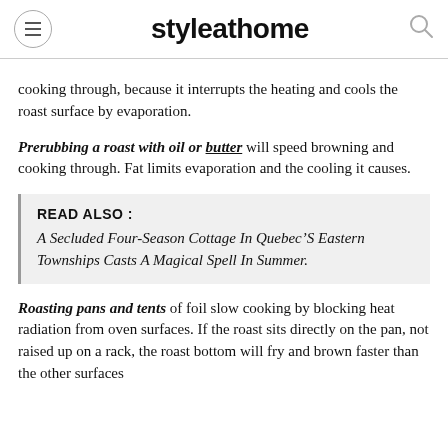styleathome
cooking through, because it interrupts the heating and cools the roast surface by evaporation.
Prerubbing a roast with oil or butter will speed browning and cooking through. Fat limits evaporation and the cooling it causes.
READ ALSO : A Secluded Four-Season Cottage In Quebec’S Eastern Townships Casts A Magical Spell In Summer.
Roasting pans and tents of foil slow cooking by blocking heat radiation from oven surfaces. If the roast sits directly on the pan, not raised up on a rack, the roast bottom will fry and brown faster than the other surfaces